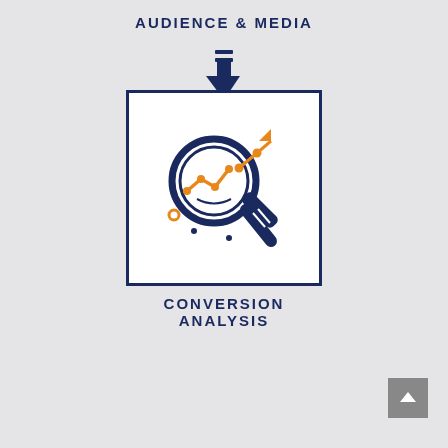AUDIENCE & MEDIA
[Figure (infographic): Downward arrow icon in dark navy blue indicating flow direction, with two horizontal lines above the arrowhead]
[Figure (illustration): Icon of a magnifying glass with an orange line chart trend inside the lens, and an orange upward trending scatter/line chart extending outside the lens. Dark navy border box contains the icon.]
CONVERSION ANALYSIS